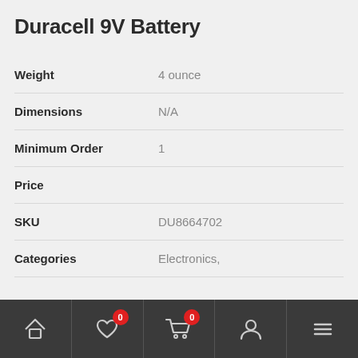Duracell 9V Battery
| Field | Value |
| --- | --- |
| Weight | 4 ounce |
| Dimensions | N/A |
| Minimum Order | 1 |
| Price |  |
| SKU | DU8664702 |
| Categories | Electronics, |
Navigation bar with home, wishlist (0), cart (0), account, and menu icons